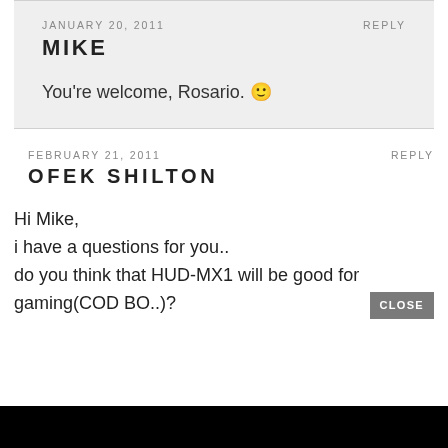JANUARY 20, 2011
REPLY
MIKE
You're welcome, Rosario. 🙂
FEBRUARY 21, 2011
REPLY
OFEK SHILTON
Hi Mike,
i have a questions for you..
do you think that HUD-MX1 will be good for gaming(COD BO..)?